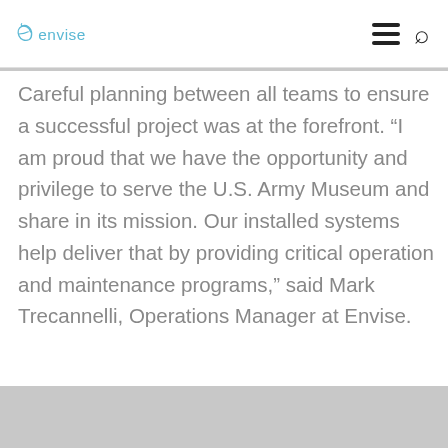envise
Careful planning between all teams to ensure a successful project was at the forefront. “I am proud that we have the opportunity and privilege to serve the U.S. Army Museum and share in its mission. Our installed systems help deliver that by providing critical operation and maintenance programs,” said Mark Trecannelli, Operations Manager at Envise.